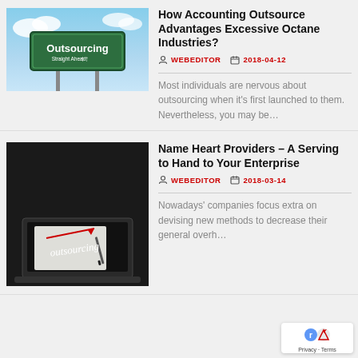[Figure (photo): Road sign reading 'Outsourcing Straight Ahead' with two upward arrows against a blue sky background]
How Accounting Outsource Advantages Excessive Octane Industries?
WEBEDITOR  2018-04-12
Most individuals are nervous about outsourcing when it's first launched to them. Nevertheless, you may be…
[Figure (photo): Black and white image of a laptop with the word 'outsourcing' written in cursive script with a red arrow]
Name Heart Providers – A Serving to Hand to Your Enterprise
WEBEDITOR  2018-03-14
Nowadays' companies focus extra on devising new methods to decrease their general overh…